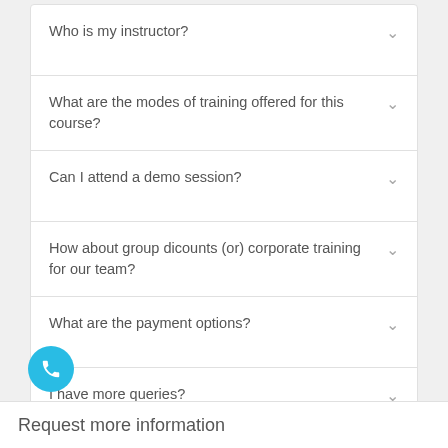Who is my instructor?
What are the modes of training offered for this course?
Can I attend a demo session?
How about group dicounts (or) corporate training for our team?
What are the payment options?
I have more queries?
Request more information